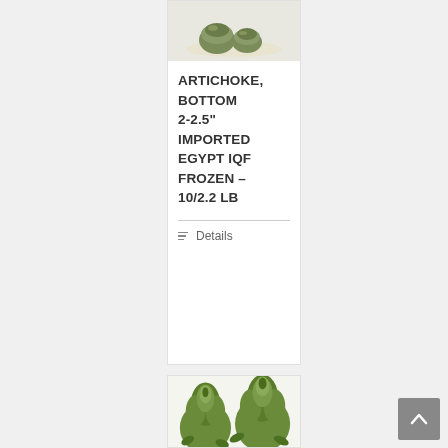[Figure (photo): Photo of artichoke bottoms on a white plate, cropped at top]
ARTICHOKE, BOTTOM 2-2.5" IMPORTED EGYPT IQF FROZEN – 10/2.2 LB
Details
[Figure (photo): Photo of whole artichokes, green, two visible at top with more below, cropped]